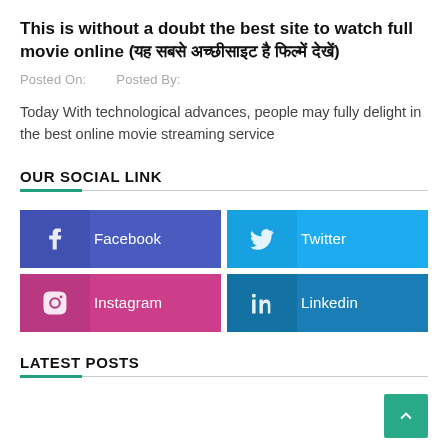This is without a doubt the best site to watch full movie online (यह सबसे अच्छी साइट है फिल्में देखें)
Posted On:    Posted By:
Today With technological advances, people may fully delight in the best online movie streaming service
OUR SOCIAL LINK
[Figure (infographic): Social media links: Facebook (blue-purple), Twitter (blue), Instagram (pink/magenta), Linkedin (dark blue)]
LATEST POSTS